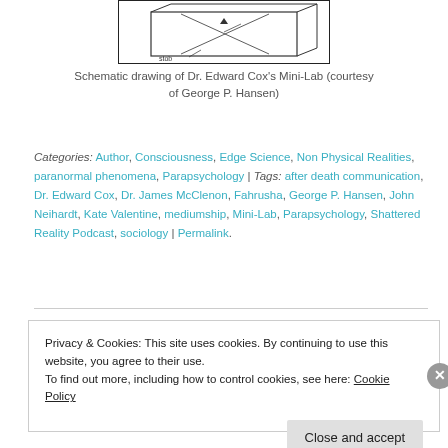[Figure (schematic): Schematic drawing of Dr. Edward Cox's Mini-Lab showing a 3D box structure with labeled 'stob' component]
Schematic drawing of Dr. Edward Cox's Mini-Lab (courtesy of George P. Hansen)
Categories: Author, Consciousness, Edge Science, Non Physical Realities, paranormal phenomena, Parapsychology | Tags: after death communication, Dr. Edward Cox, Dr. James McClenon, Fahrusha, George P. Hansen, John Neihardt, Kate Valentine, mediumship, Mini-Lab, Parapsychology, Shattered Reality Podcast, sociology | Permalink.
Privacy & Cookies: This site uses cookies. By continuing to use this website, you agree to their use.
To find out more, including how to control cookies, see here: Cookie Policy